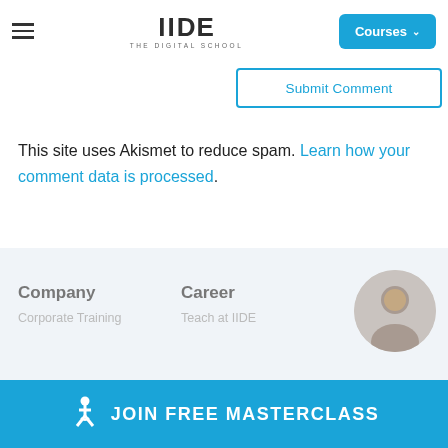IIDE THE DIGITAL SCHOOL – Courses
Submit Comment
This site uses Akismet to reduce spam. Learn how your comment data is processed.
Company | Career | JOIN FREE MASTERCLASS | Corporate Training | Teach at IIDE